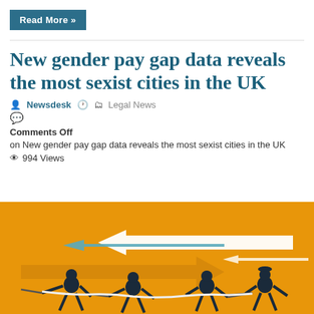Read More »
New gender pay gap data reveals the most sexist cities in the UK
Newsdesk  Legal News
Comments Off
on New gender pay gap data reveals the most sexist cities in the UK
994 Views
[Figure (illustration): Orange background illustration showing business figures in a tug-of-war with arrows pointing in opposite directions, representing gender pay gap conflict.]